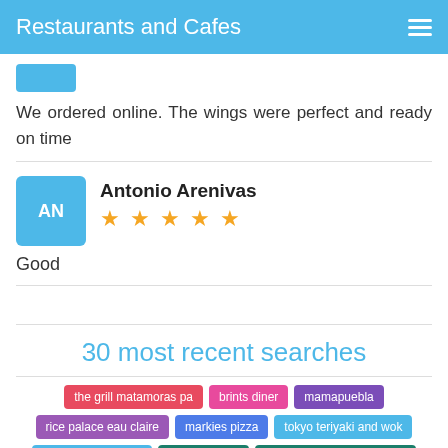Restaurants and Cafes
We ordered online. The wings were perfect and ready on time
Antonio Arenivas ★★★★★
Good
30 most recent searches
the grill matamoras pa
brints diner
mamapuebla
rice palace eau claire
markies pizza
tokyo teriyaki and wok
henderson chicken
nozawa avon
the golden nugget berlin nj